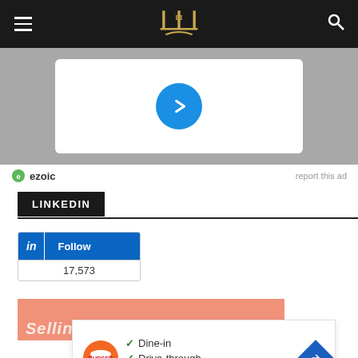Navigation bar with hamburger menu, logo, and search icon
[Figure (screenshot): Ad area with gray background, white card, and blue play button circle]
ezoic   report this ad
LINKEDIN
[Figure (screenshot): LinkedIn Follow widget showing 17,573 followers]
[Figure (screenshot): Salmon/coral colored banner partially visible]
[Figure (screenshot): Burger King ad overlay showing Dine-in, Drive-through, Delivery options with checkmarks and navigation arrow]